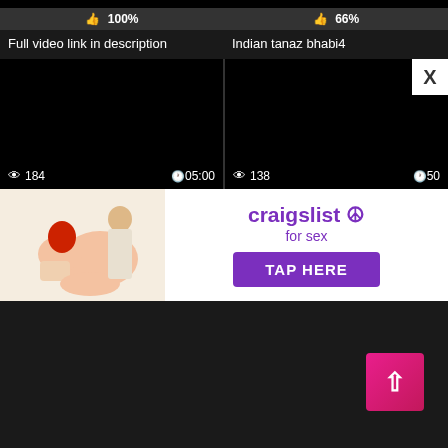[Figure (screenshot): Video thumbnail (black) with 100% like rating bar]
100%
Full video link in description
[Figure (screenshot): Video thumbnail (black) with 66% like rating bar]
66%
Indian tanaz bhabi4
[Figure (screenshot): Video thumbnail (black) with 184 views and 05:00 duration]
[Figure (screenshot): Video thumbnail (black) with 138 views and 50: duration (cut off)]
[Figure (illustration): Craigslist for sex advertisement banner with cartoon illustration and TAP HERE button]
[Figure (other): Back to top button (pink/red arrow up button) in bottom right corner]